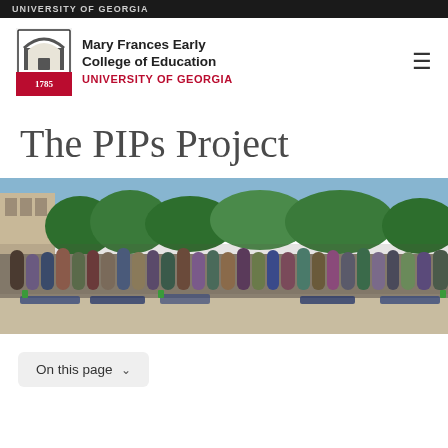UNIVERSITY OF GEORGIA
[Figure (logo): Mary Frances Early College of Education, University of Georgia logo with arch and 1785 seal]
The PIPs Project
[Figure (photo): Large group photo of students and faculty outdoors on a sunny day near a historic building and trees, with chairs and tables in the foreground]
On this page